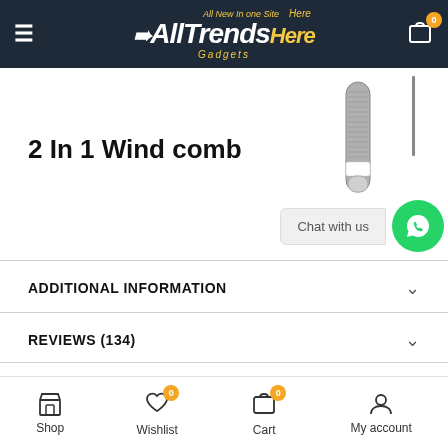All Trends Here Gadgets — navigation header
2 In 1 Wind comb
[Figure (photo): Product image of 2 In 1 Wind comb — a cylindrical grooming device with metallic comb teeth]
Chat with us
ADDITIONAL INFORMATION
REVIEWS (134)
SHIPPING & DELIVERY
Shop | Wishlist 0 | Cart 0 | My account